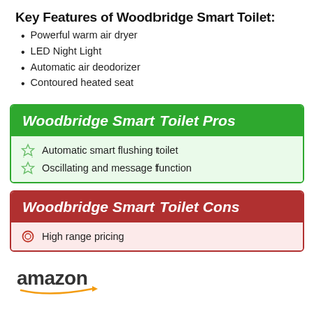Key Features of Woodbridge Smart Toilet:
Powerful warm air dryer
LED Night Light
Automatic air deodorizer
Contoured heated seat
Woodbridge Smart Toilet Pros
Automatic smart flushing toilet
Oscillating and message function
Woodbridge Smart Toilet Cons
High range pricing
[Figure (logo): Amazon logo with orange swoosh arrow underline]